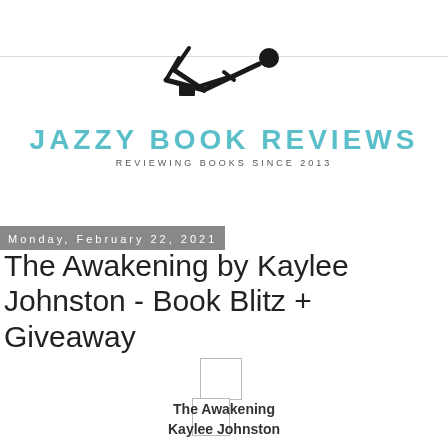[Figure (logo): Jazzy Book Reviews logo: stick figure person lying down reading a book, with teal text 'JAZZY BOOK REVIEWS' and subtitle 'REVIEWING BOOKS SINCE 2013']
Monday, February 22, 2021
The Awakening by Kaylee Johnston - Book Blitz + Giveaway
[Figure (illustration): Small image placeholder (loading icon)]
[Figure (illustration): Small image placeholder (loading icon)]
The Awakening
Kaylee Johnston